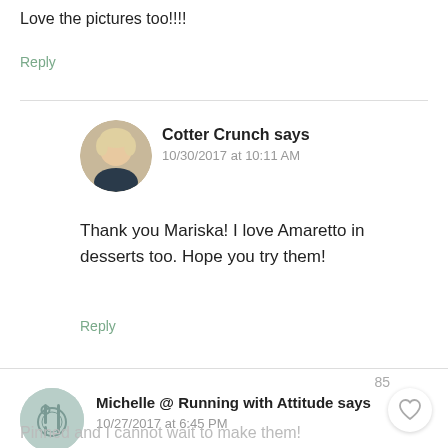Love the pictures too!!!!
Reply
Cotter Crunch says
10/30/2017 at 10:11 AM
Thank you Mariska! I love Amaretto in desserts too. Hope you try them!
Reply
85
Michelle @ Running with Attitude says
10/27/2017 at 6:45 PM
Pinned and I cannot wait to make them!